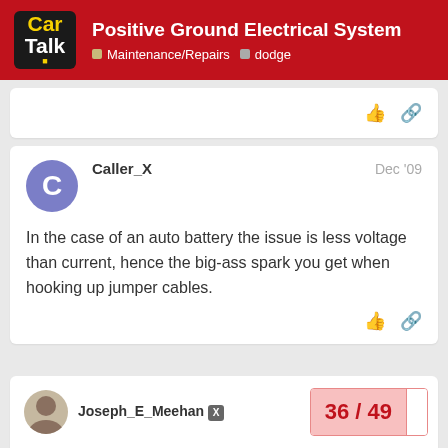Positive Ground Electrical System | Maintenance/Repairs | dodge
In the case of an auto battery the issue is less voltage than current, hence the big-ass spark you get when hooking up jumper cables.
Caller_X — Dec '09
Joseph_E_Meehan
36 / 49